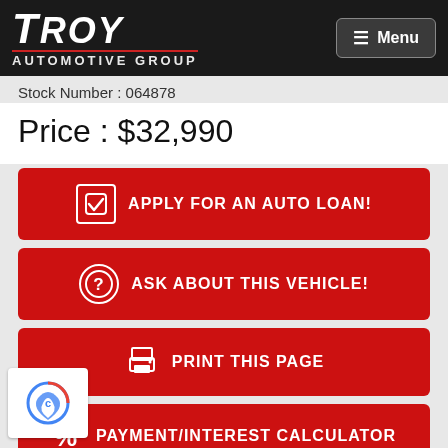[Figure (logo): Troy Automotive Group logo — white bold italic text on black background with red underline]
Stock Number : 064878
Price : $32,990
APPLY FOR AN AUTO LOAN!
ASK ABOUT THIS VEHICLE!
PRINT THIS PAGE
PAYMENT/INTEREST CALCULATOR
MPG CALCULATOR
SEND PAGE TO FRIEND